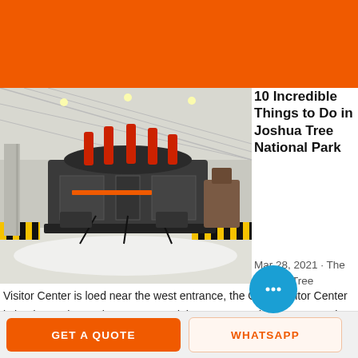ce
cla
[Figure (photo): Large industrial crushing or processing machine in a factory/warehouse setting with yellow-and-black striped barriers on the floor and white aggregate material surrounding the machine.]
10 Incredible Things to Do in Joshua Tree National Park
Mar 28, 2021 · The Joshua Tree Visitor Center is loed near the west entrance, the Oasis Visitor Center is loed near the north entrance, and the Cottonwood Visitor Center is loed at the south entrance. Sage Advice perfect Joshua Tree accommodation with one of these
GET A QUOTE
WHATSAPP